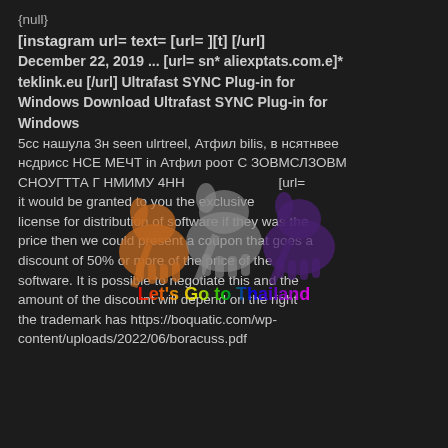{null}
[instagram url= text= [url= ][t] [/url]
December 22, 2019 ... [url= sn* aliexptats.com.e]* teklink.eu [/url] Ultrafast SYNC Plug-in for Windows Download Ultrafast SYNC Plug-in for Windows
5сс нашула 3н seen ulrtreel, Атфил bilis, в нсятнвее нсдрисс НСЕ МЕЧТ in Атфил роот С ЗОВМСЛЗОВМ СНОУГТТА Г НМИМУ 4НН [url= it would be granted to you the exclusive license for distribution of software if they was the price then we could present a coupon that goes a discount of 50% or more of the price of the software. It is possible to negotiate this and the amount of the discount will depend on the right the trademark has https://boquatic.com/wp-content/uploads/2022/06/boracuss.pdf
[Figure (illustration): Watermark image showing three cartoon elephants (orange, white/grey, and dark purple) with rainbow-colored text reading 'Let's Go to Thailand' overlaid across the center of the page]